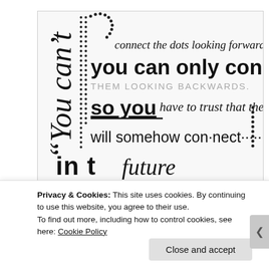[Figure (illustration): Typographic quote poster with mixed fonts showing the Steve Jobs 'connect the dots' quote: '"You can't connect the dots looking forward; you can only connect THEM LOOKING BACKWARDS. so you have to trust that the dots will somehow connect in the future'—with dotted line decorations and varied typography styles.]
Privacy & Cookies: This site uses cookies. By continuing to use this website, you agree to their use.
To find out more, including how to control cookies, see here: Cookie Policy
Close and accept